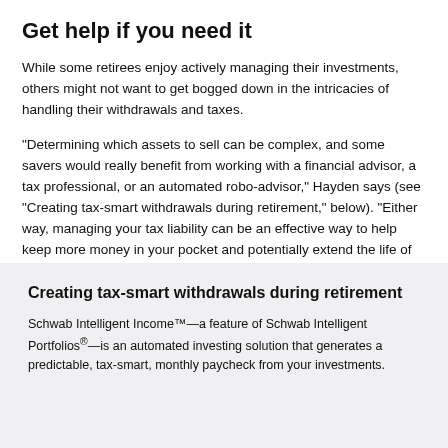Get help if you need it
While some retirees enjoy actively managing their investments, others might not want to get bogged down in the intricacies of handling their withdrawals and taxes.
"Determining which assets to sell can be complex, and some savers would really benefit from working with a financial advisor, a tax professional, or an automated robo-advisor," Hayden says (see "Creating tax-smart withdrawals during retirement," below). "Either way, managing your tax liability can be an effective way to help keep more money in your pocket and potentially extend the life of your savings."
Creating tax-smart withdrawals during retirement
Schwab Intelligent Income™—a feature of Schwab Intelligent Portfolios®—is an automated investing solution that generates a predictable, tax-smart, monthly paycheck from your investments.